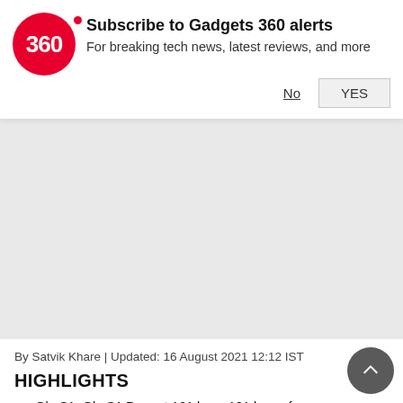[Figure (logo): Gadgets 360 subscription notification bar with red circular logo showing '360', title 'Subscribe to Gadgets 360 alerts', subtitle 'For breaking tech news, latest reviews, and more', and No/YES buttons]
[Figure (other): Grey placeholder/advertisement area]
By Satvik Khare | Updated: 16 August 2021 12:12 IST
HIGHLIGHTS
Ola S1, Ola S1 Pro get 121 kms, 181 kms of claimed range, respectively
Deliveries of the electric scooter are expected to start in October